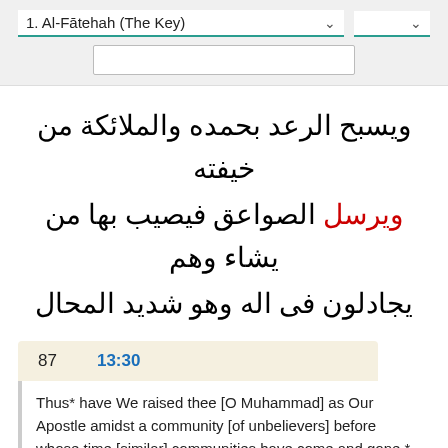1. Al-Fātehah (The Key)
ويسبح الرعد بحمده والملائكة من خيفته ويرسل الصواعق فيصيب بها من يشاء وهم يجادلون فى اله وهو شديد المحال
87   13:30
Thus* have We raised thee [O Muhammad] as Our Apostle amidst a community [of unbelievers] before whose time [similar] communities have come and gone,* so that thou might propound to them what We have revealed unto thee; for [in their ignorance] they deny the